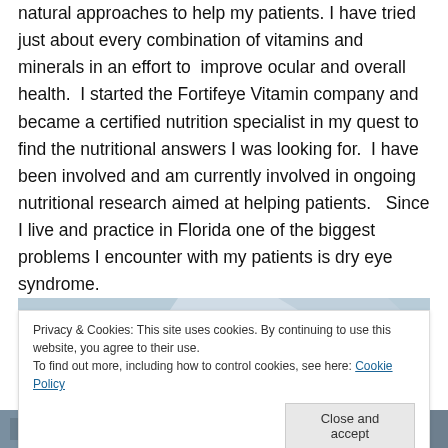natural approaches to help my patients. I have tried just about every combination of vitamins and minerals in an effort to improve ocular and overall health. I started the Fortifeye Vitamin company and became a certified nutrition specialist in my quest to find the nutritional answers I was looking for. I have been involved and am currently involved in ongoing nutritional research aimed at helping patients. Since I live and practice in Florida one of the biggest problems I encounter with my patients is dry eye syndrome.
[Figure (photo): Partial view of a photo strip, partially obscured by cookie banner overlay]
Privacy & Cookies: This site uses cookies. By continuing to use this website, you agree to their use.
To find out more, including how to control cookies, see here: Cookie Policy
Close and accept
[Figure (photo): Bottom strip showing a medical office or clinical setting photo]